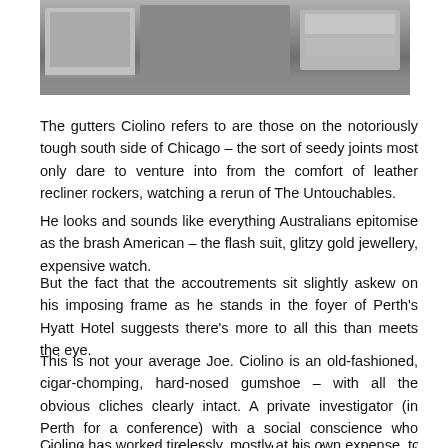[Figure (photo): Black and white photograph at top of page, partially visible, showing people or figures in an outdoor setting.]
The gutters Ciolino refers to are those on the notoriously tough south side of Chicago – the sort of seedy joints most only dare to venture into from the comfort of leather recliner rockers, watching a rerun of The Untouchables.
He looks and sounds like everything Australians epitomise as the brash American – the flash suit, glitzy gold jewellery, expensive watch.
But the fact that the accoutrements sit slightly askew on his imposing frame as he stands in the foyer of Perth's Hyatt Hotel suggests there's more to all this than meets the eye.
This is not your average Joe. Ciolino is an old-fashioned, cigar-chomping, hard-nosed gumshoe – with all the obvious cliches clearly intact. A private investigator (in Perth for a conference) with a social conscience who played a key part in the biggest civil rights furore in recent American history.
Ciolino has worked tirelessly, mostly at his own expense, to rub out